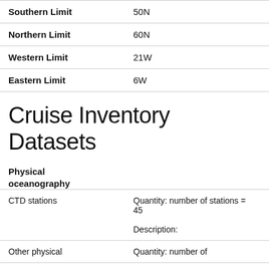| Field | Value |
| --- | --- |
| Southern Limit | 50N |
| Northern Limit | 60N |
| Western Limit | 21W |
| Eastern Limit | 6W |
Cruise Inventory Datasets
Physical oceanography
| Dataset | Details |
| --- | --- |
| CTD stations | Quantity: number of stations = 45
Description: |
| Other physical | Quantity: number of |